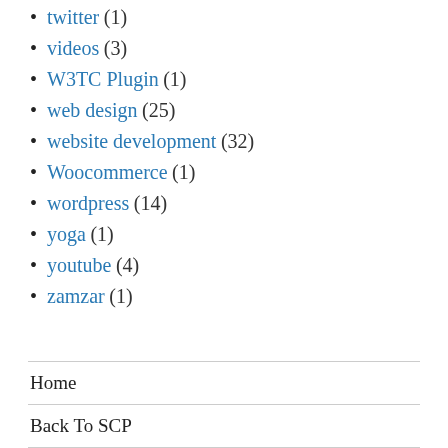twitter (1)
videos (3)
W3TC Plugin (1)
web design (25)
website development (32)
Woocommerce (1)
wordpress (14)
yoga (1)
youtube (4)
zamzar (1)
Home
Back To SCP